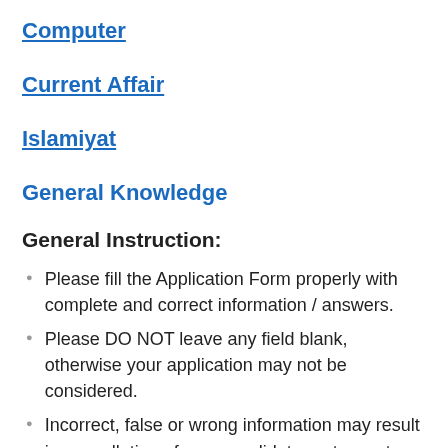Computer
Current Affair
Islamiyat
General Knowledge
General Instruction:
Please fill the Application Form properly with complete and correct information / answers.
Please DO NOT leave any field blank, otherwise your application may not be considered.
Incorrect, false or wrong information may result in cancellation of your candidature at any stage, even after employment, and also proceeding of a legal action.